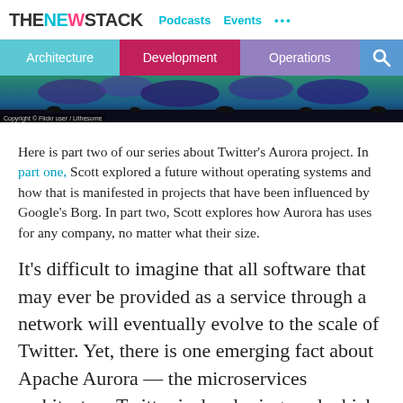THE NEW STACK  Podcasts  Events  ...
Architecture  Development  Operations
[Figure (photo): Dark landscape/abstract hero image with blue and purple tones]
Here is part two of our series about Twitter's Aurora project. In part one, Scott explored a future without operating systems and how that is manifested in projects that have been influenced by Google's Borg. In part two, Scott explores how Aurora has uses for any company, no matter what their size.
It's difficult to imagine that all software that may ever be provided as a service through a network will eventually evolve to the scale of Twitter. Yet, there is one emerging fact about Apache Aurora — the microservices architecture Twitter is developing, and which it is contributing to the...